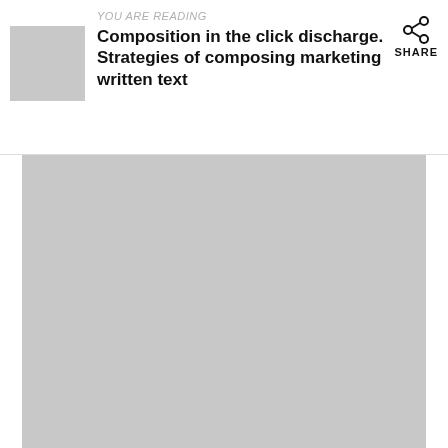YOU ARE READING
Composition in the click discharge. Strategies of composing marketing written text
[Figure (illustration): Large gray placeholder image occupying the lower portion of the page, representing a book cover or article image.]